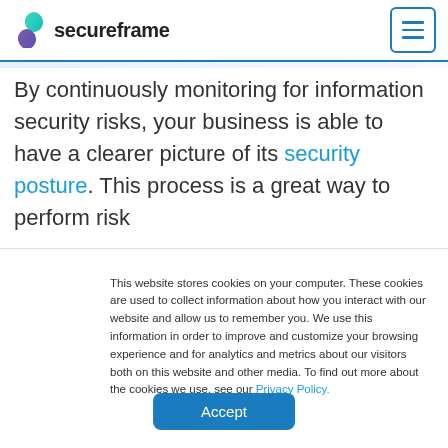secureframe
By continuously monitoring for information security risks, your business is able to have a clearer picture of its security posture. This process is a great way to perform risk
This website stores cookies on your computer. These cookies are used to collect information about how you interact with our website and allow us to remember you. We use this information in order to improve and customize your browsing experience and for analytics and metrics about our visitors both on this website and other media. To find out more about the cookies we use, see our Privacy Policy.